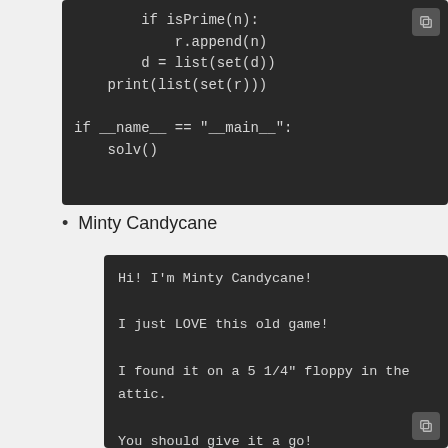[Figure (other): Dark-themed code block showing Python code: if isPrime(n): r.append(n), d = list(set(d)), print(list(set(r))), if __name__ == '__main__': solv()]
Minty Candycane
[Figure (other): Dark-themed text block with monospace font containing: Hi! I'm Minty Candycane! I just LOVE this old game! I found it on a 5 1/4" floppy in the attic. You should give it a go! If you get stuck at all, check out this year's talks. One is about web application penetration testing.]